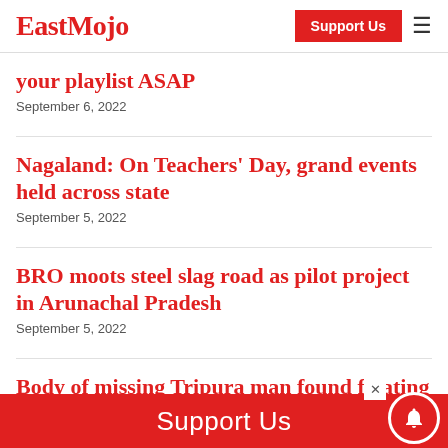EastMojo | Support Us
your playlist ASAP
September 6, 2022
Nagaland: On Teachers’ Day, grand events held across state
September 5, 2022
BRO moots steel slag road as pilot project in Arunachal Pradesh
September 5, 2022
Body of missing Tripura man found floating on river in Bangladesh
Support Us